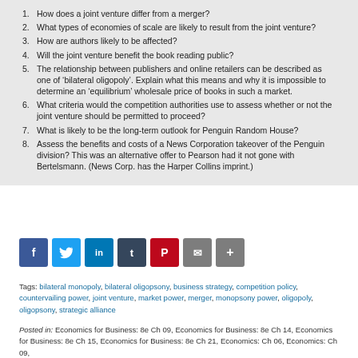1. How does a joint venture differ from a merger?
2. What types of economies of scale are likely to result from the joint venture?
3. How are authors likely to be affected?
4. Will the joint venture benefit the book reading public?
5. The relationship between publishers and online retailers can be described as one of ‘bilateral oligopoly’. Explain what this means and why it is impossible to determine an ‘equilibrium’ wholesale price of books in such a market.
6. What criteria would the competition authorities use to assess whether or not the joint venture should be permitted to proceed?
7. What is likely to be the long-term outlook for Penguin Random House?
8. Assess the benefits and costs of a News Corporation takeover of the Penguin division? This was an alternative offer to Pearson had it not gone with Bertelsmann. (News Corp. has the Harper Collins imprint.)
[Figure (other): Social sharing icons: Facebook, Twitter, LinkedIn, Tumblr, Pinterest, Email, More]
Tags: bilateral monopoly, bilateral oligopsony, business strategy, competition policy, countervailing power, joint venture, market power, merger, monopsony power, oligopoly, oligopsony, strategic alliance
Posted in: Economics for Business: 8e Ch 09, Economics for Business: 8e Ch 14, Economics for Business: 8e Ch 15, Economics for Business: 8e Ch 21, Economics: Ch 06, Economics: Ch 09, Economics: Ch 14, Essential Economics for Business: Ch 04, Essential Economics for Business: